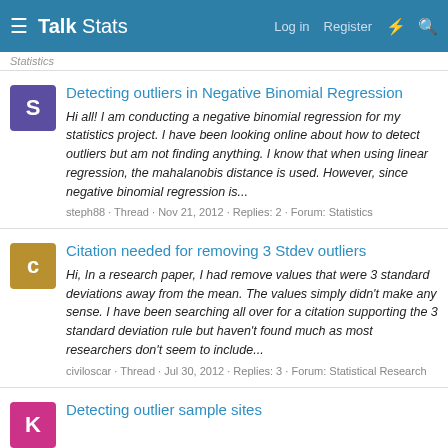Talk Stats — Log in  Register
Statistics
Detecting outliers in Negative Binomial Regression
Hi all! I am conducting a negative binomial regression for my statistics project. I have been looking online about how to detect outliers but am not finding anything. I know that when using linear regression, the mahalanobis distance is used. However, since negative binomial regression is...
steph88 · Thread · Nov 21, 2012 · Replies: 2 · Forum: Statistics
Citation needed for removing 3 Stdev outliers
Hi, In a research paper, I had remove values that were 3 standard deviations away from the mean. The values simply didn't make any sense. I have been searching all over for a citation supporting the 3 standard deviation rule but haven't found much as most researchers don't seem to include...
civiloscar · Thread · Jul 30, 2012 · Replies: 3 · Forum: Statistical Research
Detecting outlier sample sites